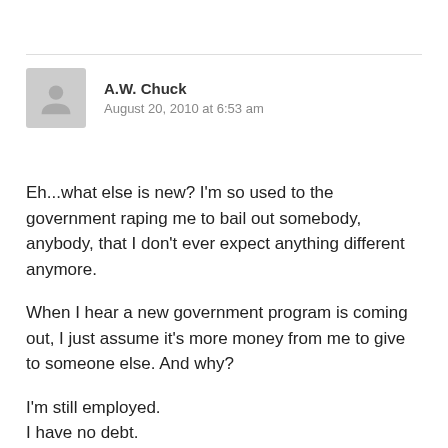[Figure (illustration): Generic user avatar icon — gray silhouette of a person on a light gray square background]
A.W. Chuck
August 20, 2010 at 6:53 am
Eh...what else is new? I'm so used to the government raping me to bail out somebody, anybody, that I don't ever expect anything different anymore.
When I hear a new government program is coming out, I just assume it's more money from me to give to someone else. And why?
I'm still employed.
I have no debt.
I rent.
I have a comfortable income.